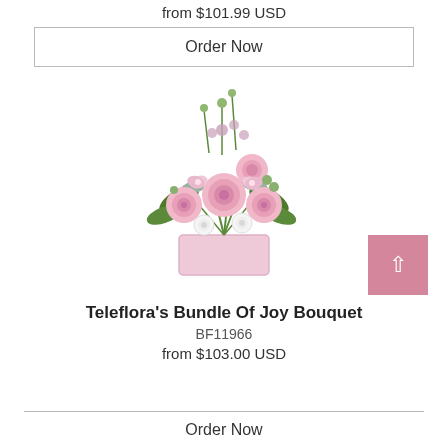from $101.99 USD
Order Now
[Figure (photo): Floral arrangement of pink roses, white mums, pink alstroemeria, and greenery in a pink glass cube vase]
Teleflora's Bundle Of Joy Bouquet
BF11966
from $103.00 USD
Order Now